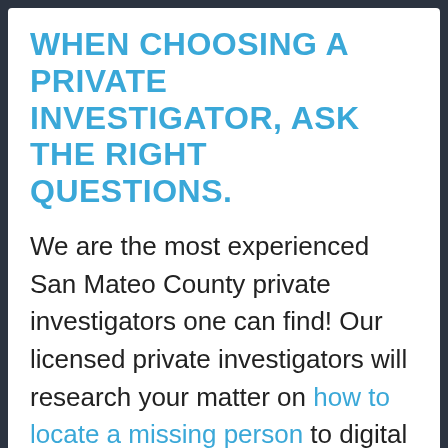WHEN CHOOSING A PRIVATE INVESTIGATOR, ASK THE RIGHT QUESTIONS.
We are the most experienced San Mateo County private investigators one can find! Our licensed private investigators will research your matter on how to locate a missing person to digital forensics, insurance fraud investigations, background